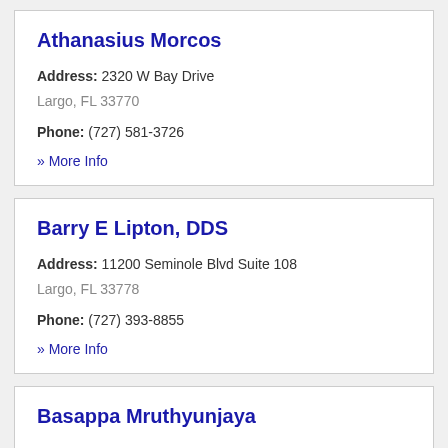Athanasius Morcos
Address: 2320 W Bay Drive
Largo, FL 33770
Phone: (727) 581-3726
» More Info
Barry E Lipton, DDS
Address: 11200 Seminole Blvd Suite 108
Largo, FL 33778
Phone: (727) 393-8855
» More Info
Basappa Mruthyunjaya